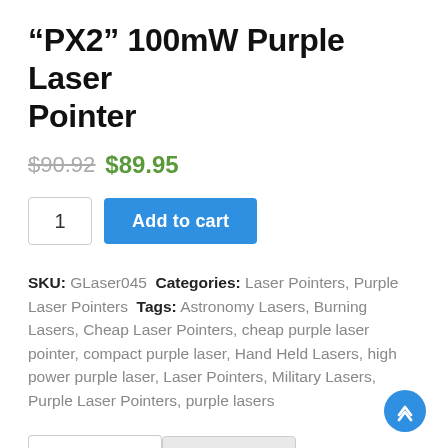“PX2” 100mW Purple Laser Pointer
$90.92 $89.95
1  Add to cart
SKU: GLaser045  Categories: Laser Pointers, Purple Laser Pointers  Tags: Astronomy Lasers, Burning Lasers, Cheap Laser Pointers, cheap purple laser pointer, compact purple laser, Hand Held Lasers, high power purple laser, Laser Pointers, Military Lasers, Purple Laser Pointers, purple lasers
Description  Reviews (0)